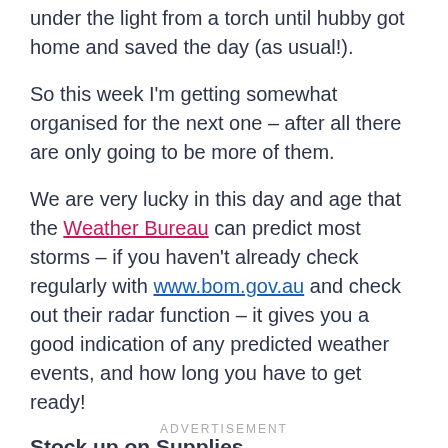under the light from a torch until hubby got home and saved the day (as usual!).
So this week I'm getting somewhat organised for the next one – after all there are only going to be more of them.
We are very lucky in this day and age that the Weather Bureau can predict most storms – if you haven't already check regularly with www.bom.gov.au and check out their radar function – it gives you a good indication of any predicted weather events, and how long you have to get ready!
Stock up on Supplies
ADVERTISEMENT